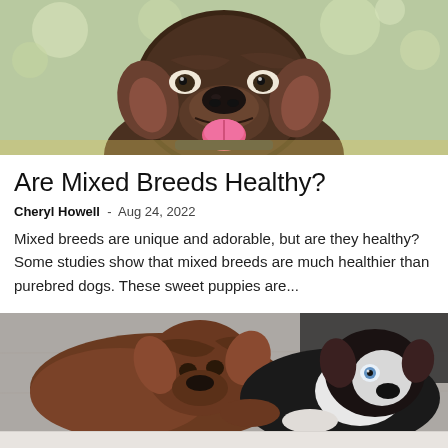[Figure (photo): Close-up photo of a brindle mixed breed dog facing the camera with mouth open and tongue out, green blurred background with bokeh trees]
Are Mixed Breeds Healthy?
Cheryl Howell  -  Aug 24, 2022
Mixed breeds are unique and adorable, but are they healthy? Some studies show that mixed breeds are much healthier than purebred dogs. These sweet puppies are...
[Figure (photo): Two mixed breed puppies lying on a concrete surface, one brown/black and one black and white with a blue eye visible, close-up shot from above]